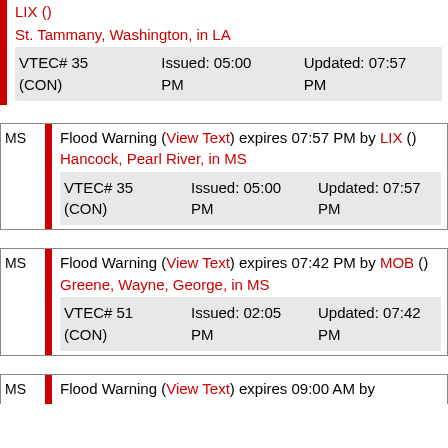LIX ()
St. Tammany, Washington, in LA
| VTEC# | Issued | Updated |
| --- | --- | --- |
| VTEC# 35 (CON) | Issued: 05:00 PM | Updated: 07:57 PM |
Flood Warning (View Text) expires 07:57 PM by LIX ()
Hancock, Pearl River, in MS
| VTEC# | Issued | Updated |
| --- | --- | --- |
| VTEC# 35 (CON) | Issued: 05:00 PM | Updated: 07:57 PM |
Flood Warning (View Text) expires 07:42 PM by MOB ()
Greene, Wayne, George, in MS
| VTEC# | Issued | Updated |
| --- | --- | --- |
| VTEC# 51 (CON) | Issued: 02:05 PM | Updated: 07:42 PM |
Flood Warning (View Text) expires 09:00 AM by